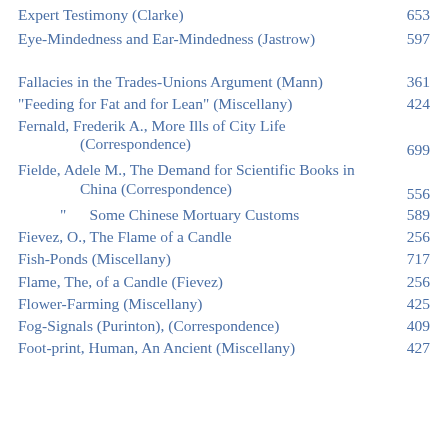Expert Testimony (Clarke) 653
Eye-Mindedness and Ear-Mindedness (Jastrow) 597
Fallacies in the Trades-Unions Argument (Mann) 361
"Feeding for Fat and for Lean" (Miscellany) 424
Fernald, Frederik A., More Ills of City Life (Correspondence) 699
Fielde, Adele M., The Demand for Scientific Books in China (Correspondence) 556
" Some Chinese Mortuary Customs 589
Fievez, O., The Flame of a Candle 256
Fish-Ponds (Miscellany) 717
Flame, The, of a Candle (Fievez) 256
Flower-Farming (Miscellany) 425
Fog-Signals (Purinton), (Correspondence) 409
Foot-print, Human, An Ancient (Miscellany) 427